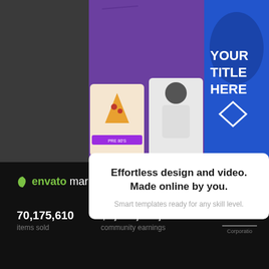[Figure (screenshot): Placeit/Envato design tool promotional banner showing various design templates including social media posts, logos, and mockups on a purple background with text 'YOUR TITLE HERE']
Effortless design and video. Made online by you.
Smart templates ready for any skill level.
[Figure (logo): Envato Market logo with green leaf icon]
70,175,610
items sold
$1,043,766,249
community earnings
[Figure (logo): Certified B Corporation logo with circle B mark]
Certified